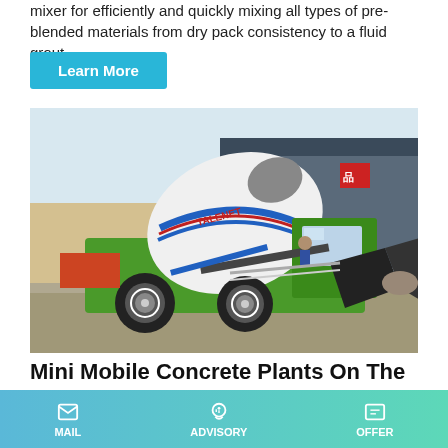mixer for efficiently and quickly mixing all types of pre-blended materials from dry pack consistency to a fluid grout.
Learn More
[Figure (photo): Green self-loading concrete mixer truck (TALENET brand) parked in front of a factory/warehouse building. The truck has a large rotating drum, a front loading bucket scooping aggregate, and large tires. A worker is visible in the cab area.]
Mini Mobile Concrete Plants On The Market